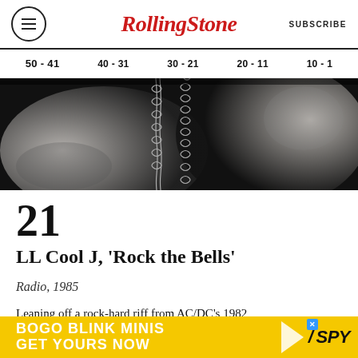Rolling Stone | SUBSCRIBE
50 - 41  40 - 31  30 - 21  20 - 11  10 - 1
[Figure (photo): Black and white close-up photo of a person's torso with chains]
21
LL Cool J, 'Rock the Bells'
Radio, 1985
Leaning off a rock-hard riff from AC/DC's 1982
[Figure (infographic): BOGO BLINK MINIS GET YOURS NOW - SPY advertisement banner]